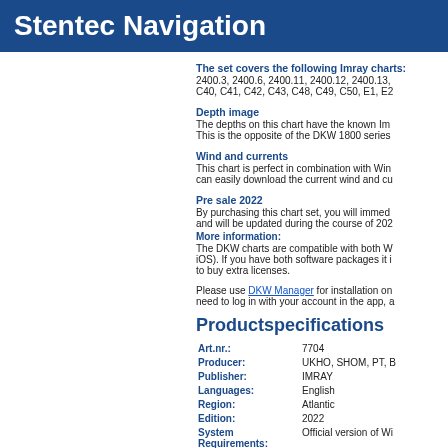Stentec Navigation
The set covers the following Imray charts:
2400.3, 2400.6, 2400.11, 2400.12, 2400.13, C40, C41, C42, C43, C48, C49, C50, E1, E2
Depth image
The depths on this chart have the known Im This is the opposite of the DKW 1800 series
Wind and currents
This chart is perfect in combination with Win can easily download the current wind and cu
Pre sale 2022
By purchasing this chart set, you will immed and will be updated during the course of 202
More information:
The DKW charts are compatible with both W iOS). If you have both software packages it i to buy extra licenses.
Please use DKW Manager for installation on need to log in with your account in the app, a
Productspecifications
| Field | Value |
| --- | --- |
| Art.nr.: | 7704 |
| Producer: | UKHO, SHOM, PT, B |
| Publisher: | IMRAY |
| Languages: | English |
| Region: | Atlantic |
| Edition: | 2022 |
| System Requirements: | Official version of Wi |